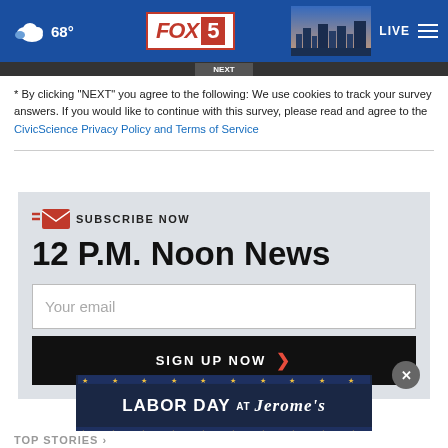FOX 5 — 68° — LIVE
* By clicking "NEXT" you agree to the following: We use cookies to track your survey answers. If you would like to continue with this survey, please read and agree to the CivicScience Privacy Policy and Terms of Service
SUBSCRIBE NOW
12 P.M. Noon News
Your email
SIGN UP NOW
[Figure (other): Labor Day at Jerome's advertisement banner with stars]
TOP STORIES ›